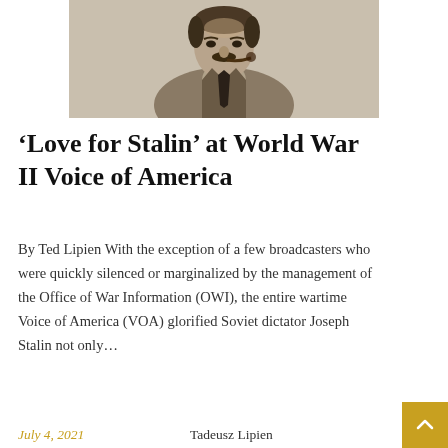[Figure (photo): Black and white historical photograph of Joseph Stalin, a man with a mustache wearing a suit, looking slightly upward]
‘Love for Stalin’ at World War II Voice of America
By Ted Lipien With the exception of a few broadcasters who were quickly silenced or marginalized by the management of the Office of War Information (OWI), the entire wartime Voice of America (VOA) glorified Soviet dictator Joseph Stalin not only…
July 4, 2021   Tadeusz Lipien